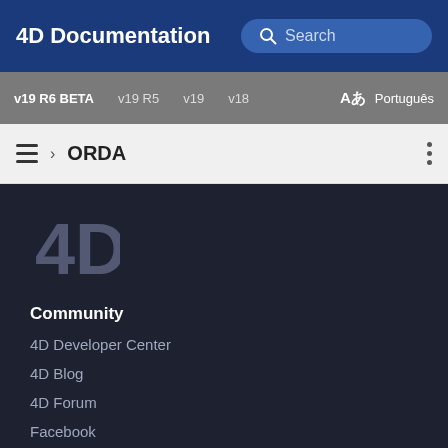4D Documentation
v19 R6 BETA  v19 R5  v19  v18  Aあ  Português
› ORDA
[Figure (logo): 4D logo in gray on dark background]
Community
4D Developer Center
4D Blog
4D Forum
Facebook
Twitter
Youtube